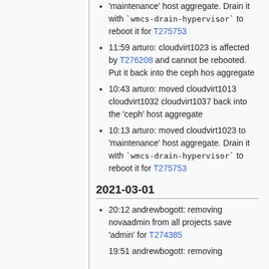'maintenance' host aggregate. Drain it with `wmcs-drain-hypervisor` to reboot it for T275753
11:59 arturo: cloudvirt1023 is affected by T276208 and cannot be rebooted. Put it back into the ceph hos aggregate
10:43 arturo: moved cloudvirt1013 cloudvirt1032 cloudvirt1037 back into the 'ceph' host aggregate
10:13 arturo: moved cloudvirt1023 to 'maintenance' host aggregate. Drain it with `wmcs-drain-hypervisor` to reboot it for T275753
2021-03-01
20:12 andrewbogott: removing novaadmin from all projects save 'admin' for T274385
19:51 andrewbogott: removing